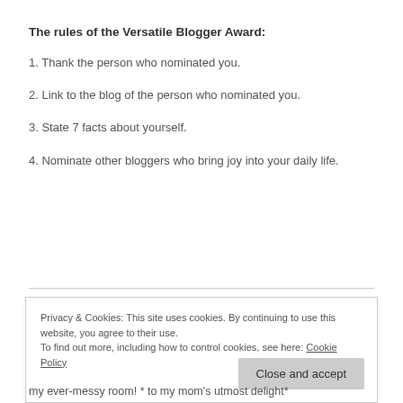The rules of the Versatile Blogger Award:
1. Thank the person who nominated you.
2. Link to the blog of the person who nominated you.
3. State 7 facts about yourself.
4. Nominate other bloggers who bring joy into your daily life.
Privacy & Cookies: This site uses cookies. By continuing to use this website, you agree to their use.
To find out more, including how to control cookies, see here: Cookie Policy
my ever-messy room! * to my mom's utmost delight*